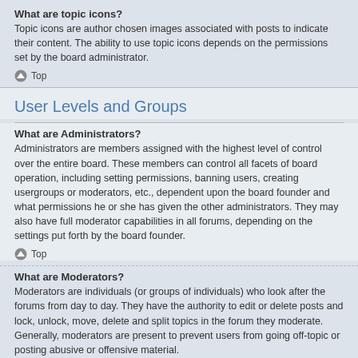What are topic icons?
Topic icons are author chosen images associated with posts to indicate their content. The ability to use topic icons depends on the permissions set by the board administrator.
Top
User Levels and Groups
What are Administrators?
Administrators are members assigned with the highest level of control over the entire board. These members can control all facets of board operation, including setting permissions, banning users, creating usergroups or moderators, etc., dependent upon the board founder and what permissions he or she has given the other administrators. They may also have full moderator capabilities in all forums, depending on the settings put forth by the board founder.
Top
What are Moderators?
Moderators are individuals (or groups of individuals) who look after the forums from day to day. They have the authority to edit or delete posts and lock, unlock, move, delete and split topics in the forum they moderate. Generally, moderators are present to prevent users from going off-topic or posting abusive or offensive material.